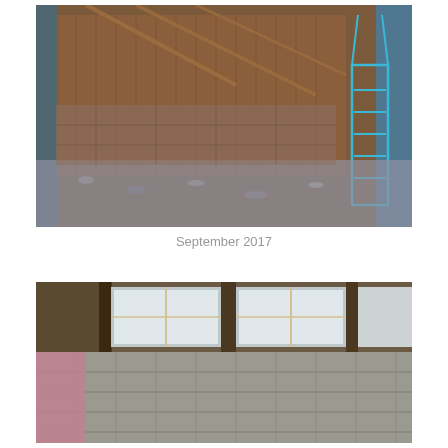[Figure (photo): Interior of a building under construction showing wooden wall panels, gravel/aggregate floor, diagonal roof bracing, and a blue step ladder on the right side. Construction debris visible.]
September 2017
[Figure (photo): Interior construction photo showing exposed wooden wall framing, concrete block foundation walls, windows with white trim visible at top, and pink drywall/insulation board leaning against wall on left side.]